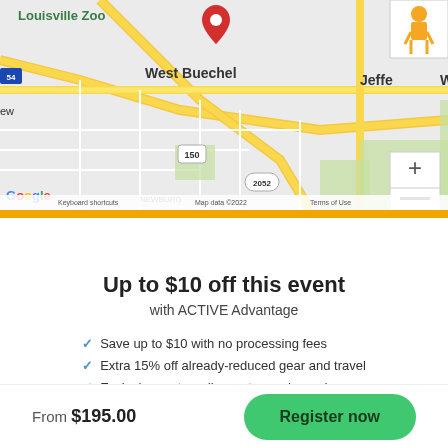[Figure (map): Google Maps screenshot showing West Buechel and surrounding Louisville, KY area with a red location pin marker, zoom controls, and map attribution including 'Louisville Zoo', 'West Buechel', 'Jeffe', route 150, route 2052, Google logo, 'Keyboard shortcuts', 'Map data ©2022', 'Terms of Use']
Up to $10 off this event
with ACTIVE Advantage
Save up to $10 with no processing fees
Extra 15% off already-reduced gear and travel
Exclusive partner discounts...and more!
From $195.00
Register now